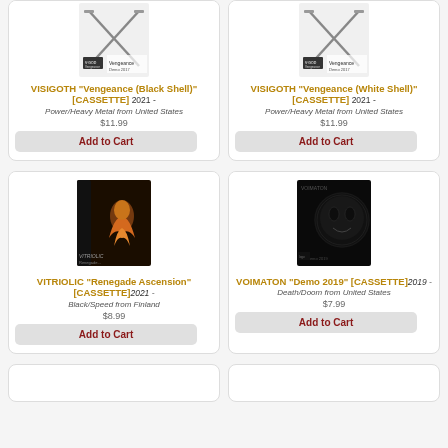[Figure (photo): Cassette tape product image for VISIGOTH Vengeance Black Shell]
VISIGOTH "Vengeance (Black Shell)" [CASSETTE] 2021 - Power/Heavy Metal from United States
$11.99
Add to Cart
[Figure (photo): Cassette tape product image for VISIGOTH Vengeance White Shell]
VISIGOTH "Vengeance (White Shell)" [CASSETTE] 2021 - Power/Heavy Metal from United States
$11.99
Add to Cart
[Figure (photo): Cassette tape product image for VITRIOLIC Renegade Ascension]
VITRIOLIC "Renegade Ascension" [CASSETTE] 2021 - Black/Speed from Finland
$8.99
Add to Cart
[Figure (photo): Cassette tape product image for VOIMATON Demo 2019]
VOIMATON "Demo 2019" [CASSETTE] 2019 - Death/Doom from United States
$7.99
Add to Cart